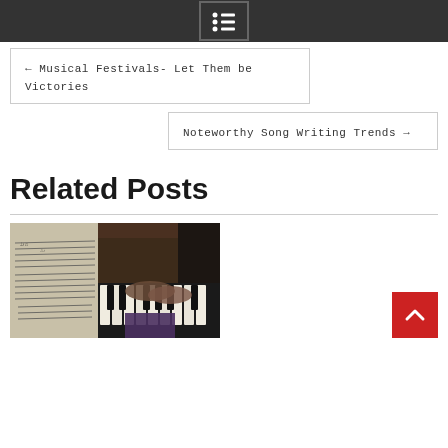Menu icon / navigation header bar
← Musical Festivals- Let Them be Victories
Noteworthy Song Writing Trends →
Related Posts
[Figure (photo): Hands playing piano with sheet music visible, dark background, close-up photograph]